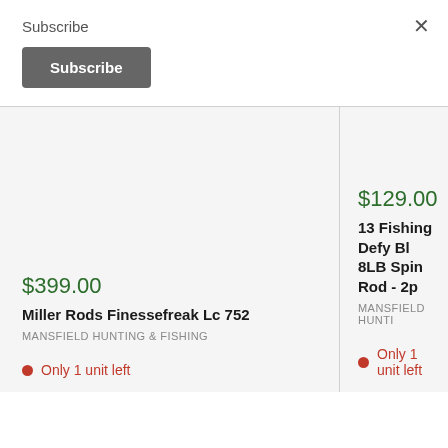Subscribe
×
Subscribe
$399.00
Miller Rods Finessefreak Lc 752
MANSFIELD HUNTING & FISHING
Only 1 unit left
$129.00
13 Fishing Defy Bl 8LB Spin Rod - 2p
MANSFIELD HUNTI
Only 1 unit left